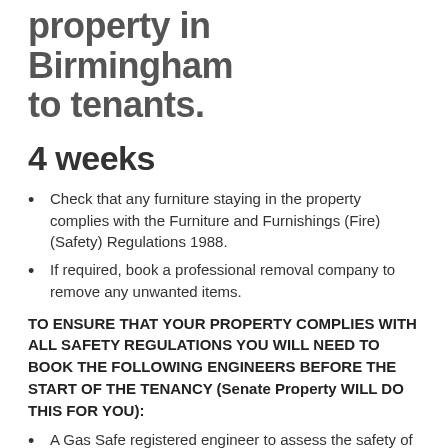property in Birmingham to tenants.
4 weeks
Check that any furniture staying in the property complies with the Furniture and Furnishings (Fire) (Safety) Regulations 1988.
If required, book a professional removal company to remove any unwanted items.
TO ENSURE THAT YOUR PROPERTY COMPLIES WITH ALL SAFETY REGULATIONS YOU WILL NEED TO BOOK THE FOLLOWING ENGINEERS BEFORE THE START OF THE TENANCY (Senate Property WILL DO THIS FOR YOU):
A Gas Safe registered engineer to assess the safety of all gas appliances.